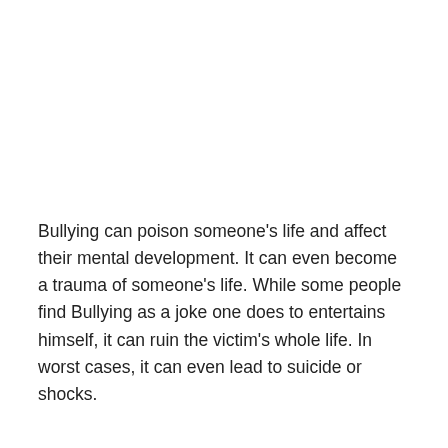Bullying can poison someone's life and affect their mental development. It can even become a trauma of someone's life. While some people find Bullying as a joke one does to entertains himself, it can ruin the victim's whole life. In worst cases, it can even lead to suicide or shocks.
Definition of Bullying
Bullying refers to unwanted and aggressive behavior and could be associated with physical harm